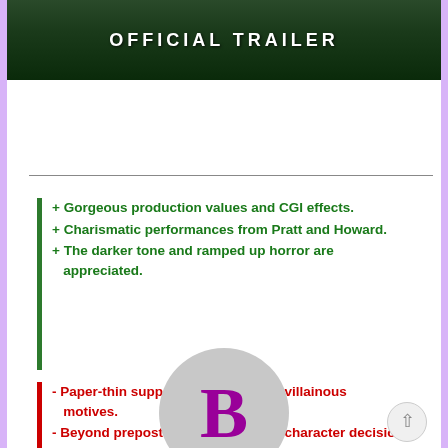[Figure (screenshot): Dark movie scene with 'OFFICIAL TRAILER' text overlay, showing dinosaurs and a person in a jungle setting]
+ Gorgeous production values and CGI effects.
+ Charismatic performances from Pratt and Howard.
+ The darker tone and ramped up horror are appreciated.
- Paper-thin support characters and villainous motives.
- Beyond preposterous plotting and character decision making.
Grading Info
[Figure (other): Grade circle showing letter 'B' in purple/magenta on a gray circular background]